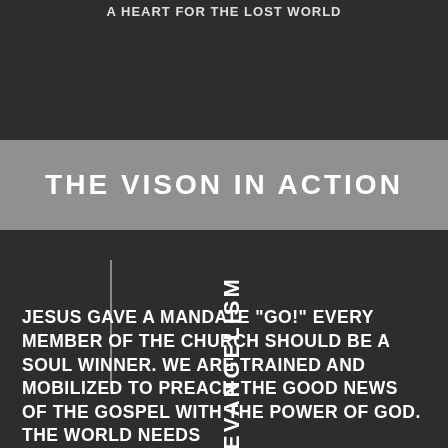A HEART FOR THE LOST WORLD
THE VISON IN ACTION
[Figure (other): Dark background with vertical decorative line and vertical text reading EVANGELISM crossing vertically through the section]
JESUS GAVE A MANDATE "GO!" EVERY MEMBER OF THE CHURCH SHOULD BE A SOUL WINNER. WE ARE TRAINED AND MOBILIZED TO PREACH THE GOOD NEWS OF THE GOSPEL WITH THE POWER OF GOD. THE WORLD NEEDS